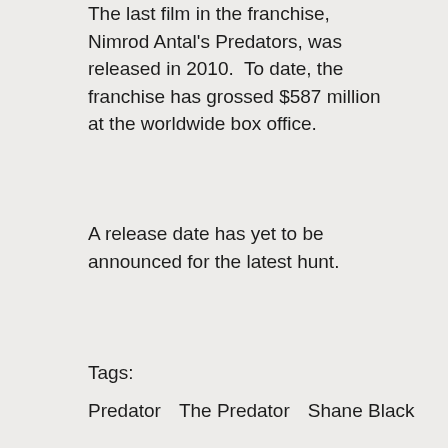The last film in the franchise, Nimrod Antal's Predators, was released in 2010.  To date, the franchise has grossed $587 million at the worldwide box office.
A release date has yet to be announced for the latest hunt.
Tags:
Predator    The Predator    Shane Black